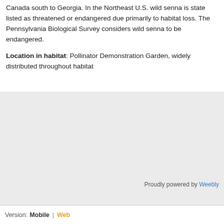Canada south to Georgia. In the Northeast U.S. wild senna is state listed as threatened or endangered due primarily to habitat loss. The Pennsylvania Biological Survey considers wild senna to be endangered.
Location in habitat: Pollinator Demonstration Garden, widely distributed throughout habitat
[Figure (other): Large gray placeholder area representing an image or empty content block]
Proudly powered by Weebly
Version: Mobile | Web